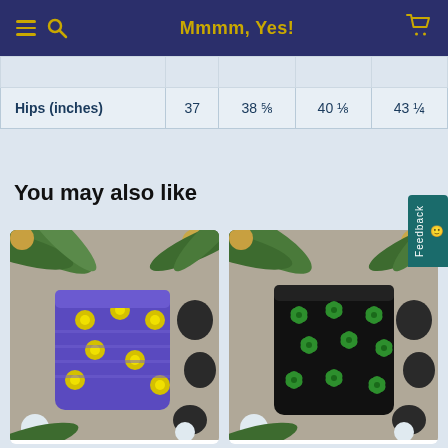Mmmm, Yes!
|  |  |  |  |  |
| Hips (inches) | 37 | 38 ⅝ | 40 ⅛ | 43 ¼ |
You may also like
[Figure (photo): Purple shorts with yellow floral pattern on tropical background with coconuts and palm leaves]
[Figure (photo): Black shorts with green clover/shamrock pattern on tropical background with coconuts and palm leaves]